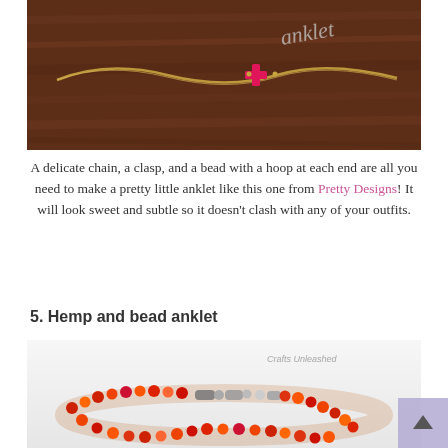[Figure (photo): Photo of a gold chain anklet with a pink/hot pink cross-shaped bead pendant, laid on a dark walnut wood surface. Cursive text 'anklet' visible in upper right corner.]
A delicate chain, a clasp, and a bead with a hoop at each end are all you need to make a pretty little anklet like this one from Pretty Designs! It will look sweet and subtle so it doesn't clash with any of your outfits.
5. Hemp and bead anklet
[Figure (photo): Close-up photo of a hemp and bead anklet made with red, orange, and pink beads woven together with a lobster clasp closure, on a white background. Watermark 'Crafts Unleashed' visible in upper right.]